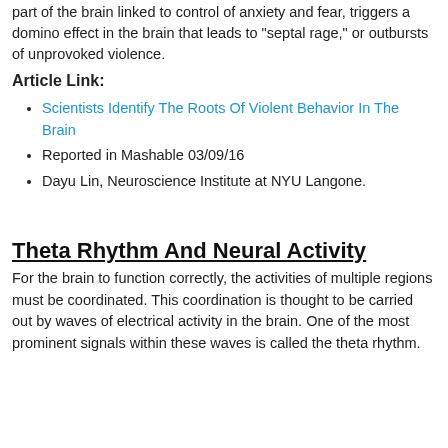part of the brain linked to control of anxiety and fear, triggers a domino effect in the brain that leads to "septal rage," or outbursts of unprovoked violence.
Article Link:
Scientists Identify The Roots Of Violent Behavior In The Brain
Reported in Mashable 03/09/16
Dayu Lin, Neuroscience Institute at NYU Langone.
Theta Rhythm And Neural Activity
For the brain to function correctly, the activities of multiple regions must be coordinated. This coordination is thought to be carried out by waves of electrical activity in the brain. One of the most prominent signals within these waves is called the theta rhythm.